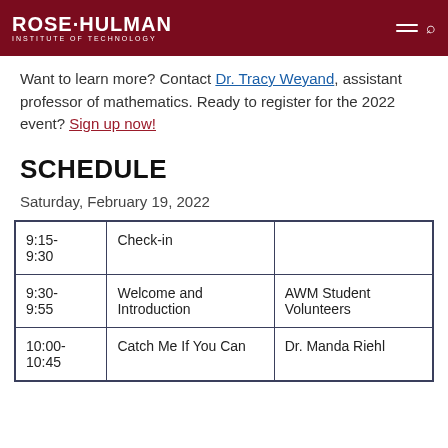ROSE·HULMAN INSTITUTE OF TECHNOLOGY
Want to learn more? Contact Dr. Tracy Weyand, assistant professor of mathematics. Ready to register for the 2022 event? Sign up now!
SCHEDULE
Saturday, February 19, 2022
|  |  |  |
| --- | --- | --- |
| 9:15-9:30 | Check-in |  |
| 9:30-9:55 | Welcome and Introduction | AWM Student Volunteers |
| 10:00-10:45 | Catch Me If You Can | Dr. Manda Riehl |